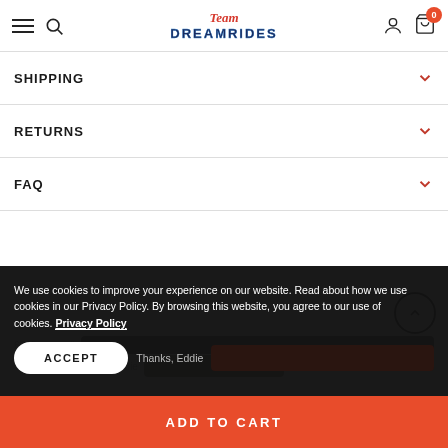Team DreamRides — navigation header with hamburger menu, search, logo, user icon, cart (0)
SHIPPING
RETURNS
FAQ
We use cookies to improve your experience on our website. Read about how we use cookies in our Privacy Policy. By browsing this website, you agree to our use of cookies. Privacy Policy
ACCEPT
ADD TO CART